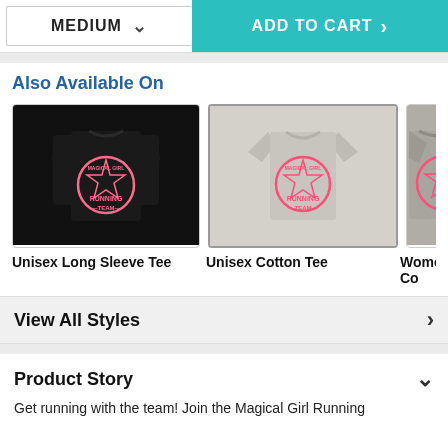MEDIUM ▾
ADD TO CART ›
Also Available On
[Figure (photo): Black long sleeve t-shirt with pink Magical Girl Running Team graphic]
Unisex Long Sleeve Tee
[Figure (photo): Light gray Unisex Cotton Tee with pink Magical Girl Running Team graphic (selected/highlighted)]
Unisex Cotton Tee
[Figure (photo): Partial view of Women's Co t-shirt in gray with pink Magical Girl Running Team graphic]
Women's Co
View All Styles ›
Product Story
Get running with the team! Join the Magical Girl Running